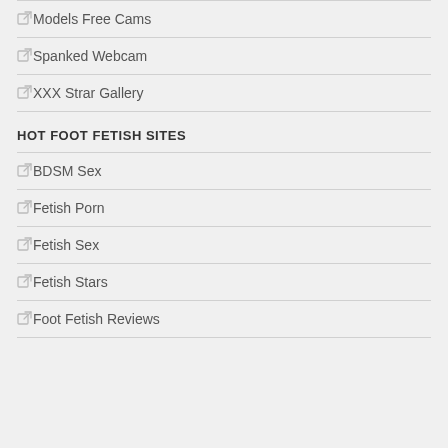Models Free Cams
Spanked Webcam
XXX Strar Gallery
HOT FOOT FETISH SITES
BDSM Sex
Fetish Porn
Fetish Sex
Fetish Stars
Foot Fetish Reviews